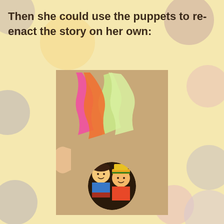Then she could use the puppets to re-enact the story on her own:
[Figure (photo): Photo of a brown paper bag puppet theater with colorful tissue paper (pink, orange, green) sticking out the top, and illustrated character puppets (children figures) visible through a circular hole cut in the front of the bag, set against a dark background.]